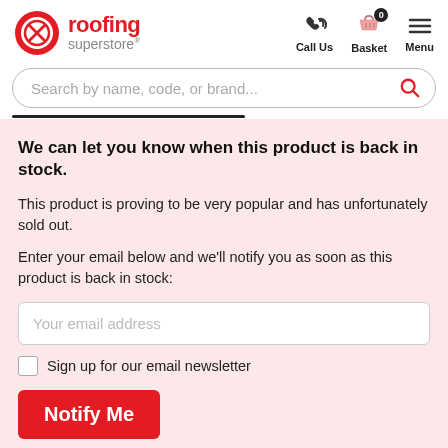roofing superstore — Call Us, Basket (0), Menu
Search by name, code, or brand...
We can let you know when this product is back in stock.
This product is proving to be very popular and has unfortunately sold out.
Enter your email below and we'll notify you as soon as this product is back in stock:
Your email address
Sign up for our email newsletter
Notify Me